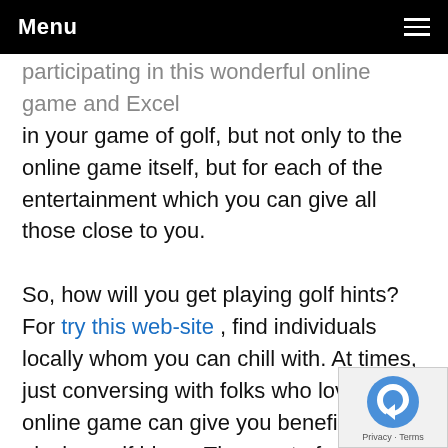Menu
participating in this wonderful online game and Excel in your game of golf, but not only to the online game itself, but for each of the entertainment which you can give all those close to you.
So, how will you get playing golf hints? For try this web-site , find individuals locally whom you can chill with. At times, just conversing with folks who love this online game can give you beneficial playing golf ideas. The sport of golf is a superb talk starter, and it may produce a awesome way to connect with new pals.